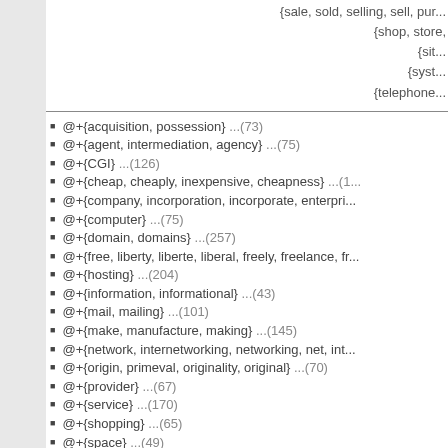{sale, sold, selling, sell, pur...
{shop, store,
{sit...
{syst...
{telephone...
@+{acquisition, possession} ...(73)
@+{agent, intermediation, agency} ...(75)
@+{CGI} ...(126)
@+{cheap, cheaply, inexpensive, cheapness} ...(1...)
@+{company, incorporation, incorporate, enterpri...
@+{computer} ...(75)
@+{domain, domains} ...(257)
@+{free, liberty, liberte, liberal, freely, freelance, fr...
@+{hosting} ...(204)
@+{information, informational} ...(43)
@+{mail, mailing} ...(101)
@+{make, manufacture, making} ...(145)
@+{network, internetworking, networking, net, int...
@+{origin, primeval, originality, original} ...(70)
@+{provider} ...(67)
@+{service} ...(170)
@+{shopping} ...(65)
@+{space} ...(49)
@+{virtual} ...(43)
@+{work, occupational, occupation, business, wo...
@+{WWW, web, W3} ...(220)
(others)
kanonteam (Kanagawa) -